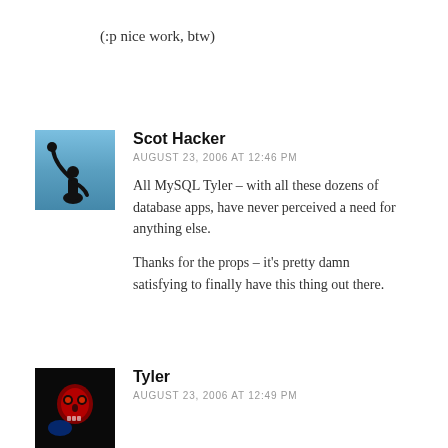(:p nice work, btw)
[Figure (photo): Avatar of Scot Hacker — silhouette of a person raising arm against blue sky]
Scot Hacker
AUGUST 23, 2006 AT 12:46 PM
All MySQL Tyler – with all these dozens of database apps, have never perceived a need for anything else.

Thanks for the props – it's pretty damn satisfying to finally have this thing out there.
[Figure (photo): Avatar of Tyler — dark background with red glowing skull/face graphic]
Tyler
AUGUST 23, 2006 AT 12:49 PM